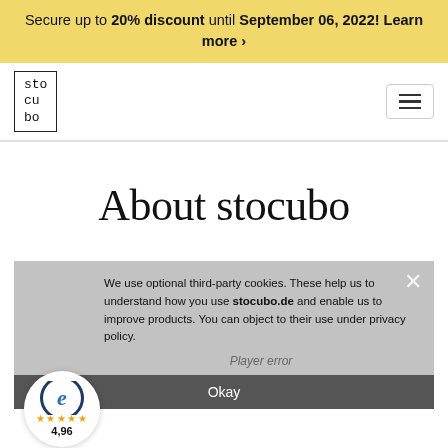Secure up to 20% discount until September 06, 2022! Learn more ›
[Figure (logo): stocubo logo in a bordered box with monospace text]
[Figure (illustration): Hamburger menu icon (three horizontal lines)]
About stocubo
[Figure (screenshot): Video player area with cookie consent overlay and Trusted Shops badge]
We use optional third-party cookies. These help us to understand how you use stocubo.de and enable us to improve products. You can object to their use under privacy policy.
Player error
The player is having trouble. We'll have it back up and running as soon as possible.
Okay